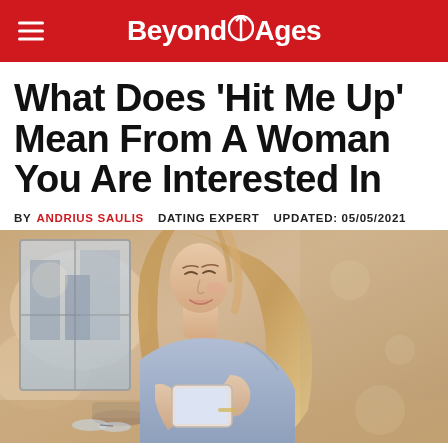BeyondAges
What Does 'Hit Me Up' Mean From A Woman You Are Interested In
BY ANDRIUS SAULIS   DATING EXPERT   UPDATED: 05/05/2021
[Figure (photo): A smiling young woman with long blonde hair wearing a light blue sleeveless top, looking down at a smartphone she holds in both hands. Background shows a café or outdoor seating area with soft bokeh lighting.]